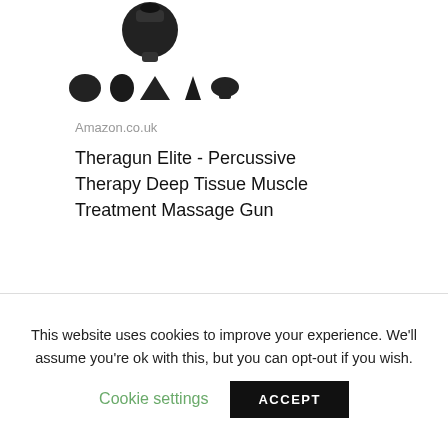[Figure (photo): Product images of Theragun Elite massage gun: one main larger image on top and five smaller thumbnail attachment head icons below]
Amazon.co.uk
Theragun Elite - Percussive Therapy Deep Tissue Muscle Treatment Massage Gun
£375.00
Theragun Massage Gun Mini UK
This website uses cookies to improve your experience. We'll assume you're ok with this, but you can opt-out if you wish.
Cookie settings  ACCEPT